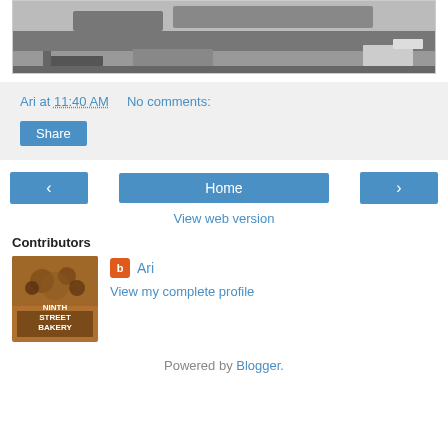[Figure (photo): Black and white photo of a bakery counter with trays and containers]
Ari at 11:40 AM    No comments:
Share
‹  Home  ›
View web version
Contributors
[Figure (logo): Ninth Street Bakery logo with baked goods]
Ari
View my complete profile
Powered by Blogger.